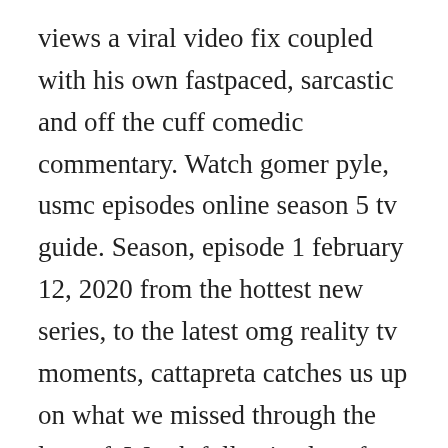views a viral video fix coupled with his own fastpaced, sarcastic and off the cuff comedic commentary. Watch gomer pyle, usmc episodes online season 5 tv guide. Season, episode 1 february 12, 2020 from the hottest new series, to the latest omg reality tv moments, cattapreta catches us up on what we missed through the lens of. Watch full episodes of supersoul sunday, the daytime series on own that features thoughtprovoking conversations between oprah and renowned thought. Tvguide has every full episode so you can stayuptodate and watch your favorite